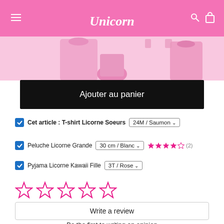Unicorn
[Figure (photo): Pink product images partially visible at top of page]
Ajouter au panier
Cet article : T-shirt Licorne Soeurs  24M / Saumon
Peluche Licorne Grande  30 cm / Blanc  ★★★★☆ (2)
Pyjama Licorne Kawaii Fille  3T / Rose
[Figure (other): 5 empty pink star rating icons]
Write a review
Be the first to writing an opinion